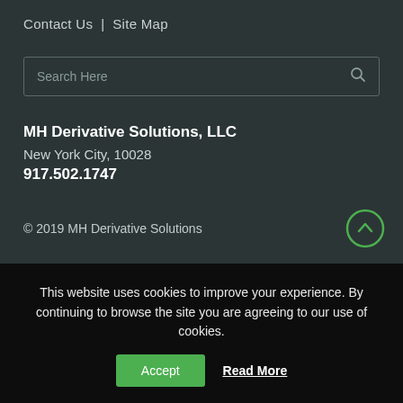Contact Us  |  Site Map
Search Here
MH Derivative Solutions, LLC
New York City, 10028
917.502.1747
© 2019 MH Derivative Solutions
This website uses cookies to improve your experience. By continuing to browse the site you are agreeing to our use of cookies. Accept Read More